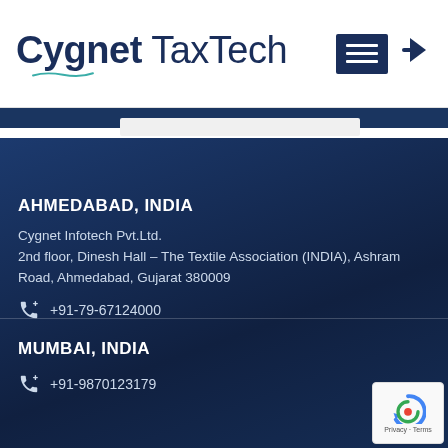[Figure (logo): Cygnet TaxTech logo with teal wave underline, dark blue text, hamburger menu icon and login arrow icon on right]
AHMEDABAD, INDIA
Cygnet Infotech Pvt.Ltd.
2nd floor, Dinesh Hall – The Textile Association (INDIA), Ashram Road, Ahmedabad, Gujarat 380009
+91-79-67124000
MUMBAI, INDIA
+91-9870123179